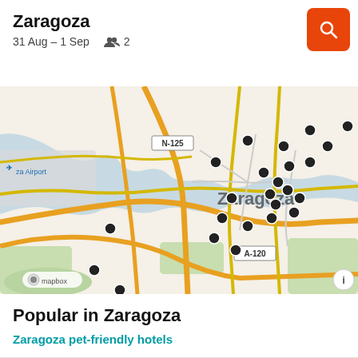Zaragoza
31 Aug – 1 Sep   👥 2
[Figure (map): A Mapbox map showing Zaragoza, Spain with multiple black dot markers indicating hotel/accommodation locations clustered around the city center. Notable roads N-125 and A-120 are labeled. Zaragoza Airport visible top-left. The Ebro river runs through the city.]
Popular in Zaragoza
Zaragoza pet-friendly hotels